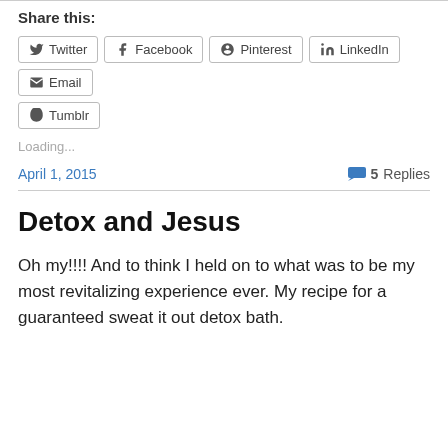Share this:
Twitter
Facebook
Pinterest
LinkedIn
Email
Tumblr
Loading...
April 1, 2015
5 Replies
Detox and Jesus
Oh my!!!!  And to think I held on to what was to be my most revitalizing experience ever. My recipe for a guaranteed sweat it out detox bath.